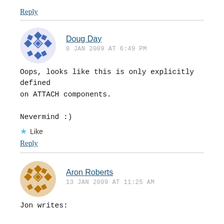Reply
Doug Day
8 JAN 2009 AT 6:49 PM
Oops, looks like this is only explicitly defined on ATTACH components.

Nevermind :)
Like
Reply
Aron Roberts
13 JAN 2009 AT 11:25 AM
Jon writes: